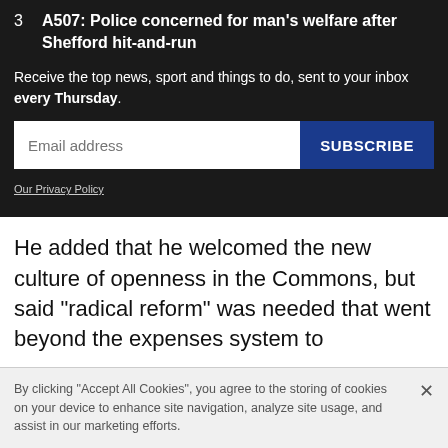3  A507: Police concerned for man's welfare after Shefford hit-and-run
Receive the top news, sport and things to do, sent to your inbox every Thursday.
Email address [input field] SUBSCRIBE button
Our Privacy Policy
He added that he welcomed the new culture of openness in the Commons, but said "radical reform" was needed that went beyond the expenses system to
By clicking “Accept All Cookies”, you agree to the storing of cookies on your device to enhance site navigation, analyze site usage, and assist in our marketing efforts.